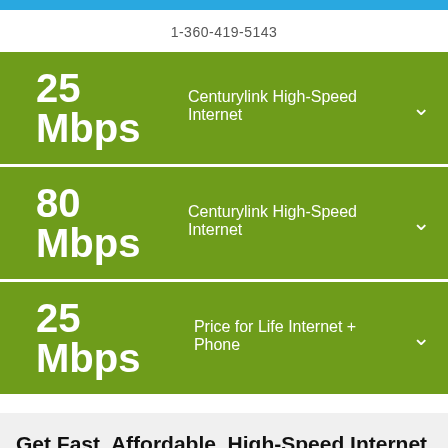1-360-419-5143
25 Mbps Centurylink High-Speed Internet
80 Mbps Centurylink High-Speed Internet
25 Mbps Price for Life Internet + Phone
Get Fast, Affordable, High-Speed Internet in Scappoose
If you live in Scappoose, Oregon you can get High-Speed Internet at a great price when you choose CenturyLink—and that is just some of what you can expect. You'll be able to watch popular TV shows on CenturyLink's website